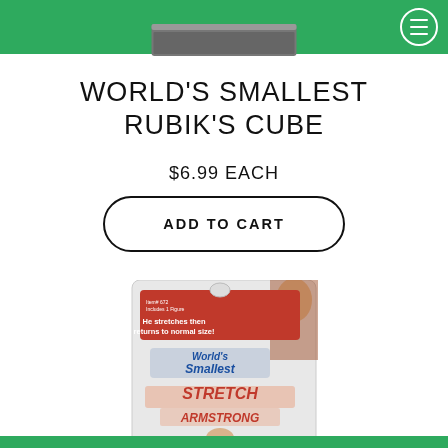WORLD'S SMALLEST RUBIK'S CUBE
$6.99 EACH
ADD TO CART
[Figure (photo): Product package photo of World's Smallest Stretch Armstrong toy in retail packaging with red header bar and colorful logo]